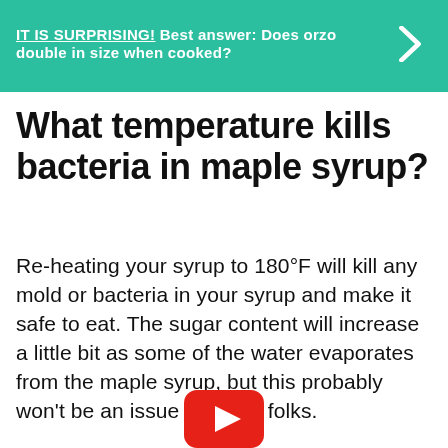[Figure (other): Teal/green banner with text 'IT IS SURPRISING! Best answer: Does orzo double in size when cooked?' and a right-arrow chevron on the right side]
What temperature kills bacteria in maple syrup?
Re-heating your syrup to 180°F will kill any mold or bacteria in your syrup and make it safe to eat. The sugar content will increase a little bit as some of the water evaporates from the maple syrup, but this probably won't be an issue for most folks.
[Figure (logo): YouTube play button logo (red rounded rectangle with white triangle)]